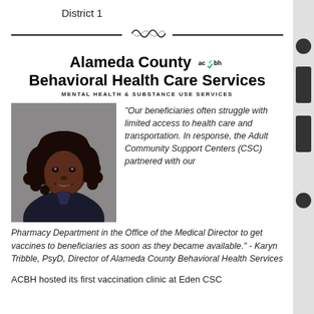District 1
Alameda County Behavioral Health Care Services
MENTAL HEALTH & SUBSTANCE USE SERVICES
[Figure (photo): Portrait photo of Karyn Tribble, PsyD, Director of Alameda County Behavioral Health Services — a woman with curly hair wearing a dark blazer, smiling, against a grey background.]
"Our beneficiaries often struggle with limited access to health care and transportation. In response, the Adult Community Support Centers (CSC) partnered with our Pharmacy Department in the Office of the Medical Director to get vaccines to beneficiaries as soon as they became available." - Karyn Tribble, PsyD, Director of Alameda County Behavioral Health Services
ACBH hosted its first vaccination clinic at Eden CSC